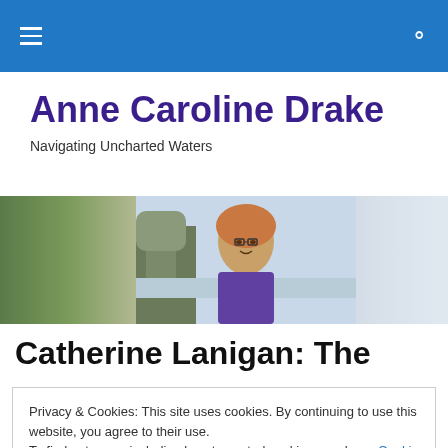Navigation menu and search icon on blue header bar
Anne Caroline Drake
Navigating Uncharted Waters
[Figure (photo): Outdoor photo of a woman with short blonde hair and glasses, smiling, wearing a purple jacket, with trees and water in the background]
Catherine Lanigan: The
Privacy & Cookies: This site uses cookies. By continuing to use this website, you agree to their use.
To find out more, including how to control cookies, see here: Cookie Policy
Close and accept